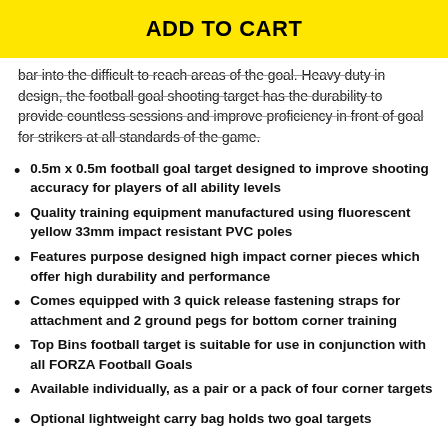ADD TO CART
bar into the difficult to reach areas of the goal. Heavy duty in design, the football goal shooting target has the durability to provide countless sessions and improve proficiency in front of goal for strikers at all standards of the game.
0.5m x 0.5m football goal target designed to improve shooting accuracy for players of all ability levels
Quality training equipment manufactured using fluorescent yellow 33mm impact resistant PVC poles
Features purpose designed high impact corner pieces which offer high durability and performance
Comes equipped with 3 quick release fastening straps for attachment and 2 ground pegs for bottom corner training
Top Bins football target is suitable for use in conjunction with all FORZA Football Goals
Available individually, as a pair or a pack of four corner targets
Optional lightweight carry bag holds two goal targets